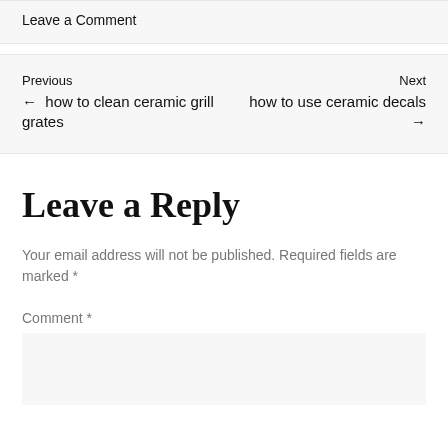Leave a Comment
Previous ← how to clean ceramic grill grates
Next how to use ceramic decals →
Leave a Reply
Your email address will not be published. Required fields are marked *
Comment *